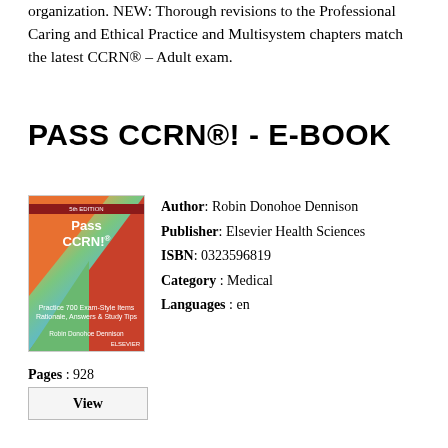organization. NEW: Thorough revisions to the Professional Caring and Ethical Practice and Multisystem chapters match the latest CCRN® - Adult exam.
PASS CCRN®! - E-BOOK
[Figure (illustration): Book cover of 'Pass CCRN!' by Robin Donohoe Dennison, Elsevier publisher, with colorful geometric triangles in red, orange, green and blue.]
Author: Robin Donohoe Dennison
Publisher: Elsevier Health Sciences
ISBN: 0323596819
Category : Medical
Languages : en
Pages : 928
View